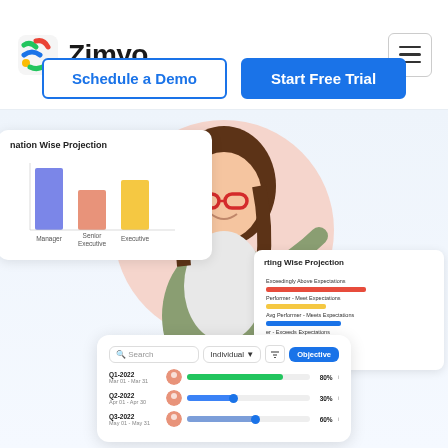[Figure (logo): Zimyo logo with colorful Z icon and bold Zimyo text]
[Figure (screenshot): Schedule a Demo and Start Free Trial buttons]
[Figure (bar-chart): Bar chart showing blue, salmon/orange, and yellow bars for Manager, Senior Executive, Executive categories]
[Figure (photo): Smiling woman with red glasses pointing, on pink circle background]
[Figure (screenshot): Rating Wise Projection horizontal bar chart widget]
[Figure (screenshot): Timeline/progress tracker card showing Q1-2022, Q2-2022, Q3-2022 rows with progress bars and percentage values]